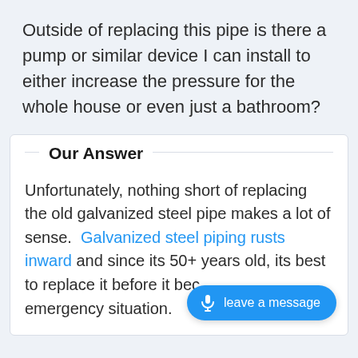Outside of replacing this pipe is there a pump or similar device I can install to either increase the pressure for the whole house or even just a bathroom?
Our Answer
Unfortunately, nothing short of replacing the old galvanized steel pipe makes a lot of sense.  Galvanized steel piping rusts inward and since its 50+ years old, its best to replace it before it becomes an emergency situation.